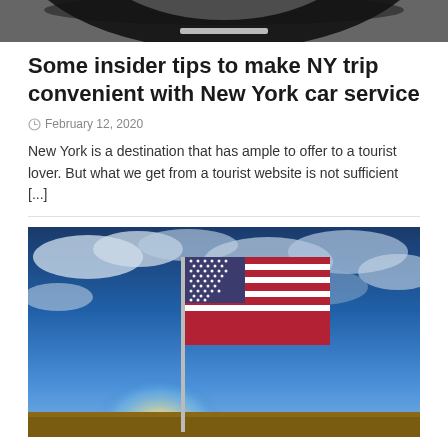[Figure (photo): Top portion of a car wheel/tire on a road, cropped at the top of the page]
Some insider tips to make NY trip convenient with New York car service
February 12, 2020
New York is a destination that has ample to offer to a tourist lover. But what we get from a tourist website is not sufficient [...]
[Figure (photo): American flag waving against a dramatic blue sky with clouds, sunlight shining behind the flag pole]